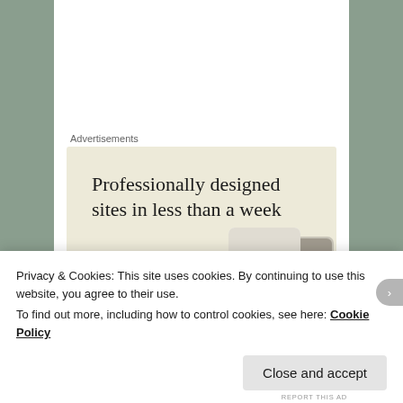Advertisements
[Figure (screenshot): Advertisement banner with beige/cream background. Large serif text reads 'Professionally designed sites in less than a week'. A green button labeled 'Explore options'. On the right side are partial images of website/app design mockups including a card with the letter A.]
Highly modified Ramsey amplifier
Privacy & Cookies: This site uses cookies. By continuing to use this website, you agree to their use.
To find out more, including how to control cookies, see here: Cookie Policy
Close and accept